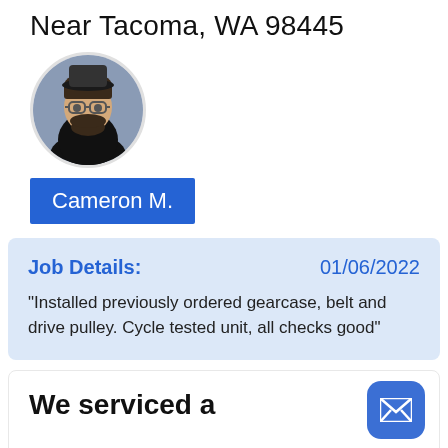Near Tacoma, WA 98445
[Figure (photo): Circular profile photo of a man with beard and glasses wearing a black shirt, with a blue/grey background]
Cameron M.
Job Details:    01/06/2022
"Installed previously ordered gearcase, belt and drive pulley. Cycle tested unit, all checks good"
We serviced a